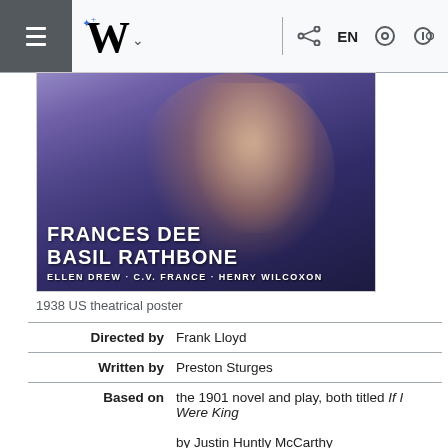Wikipedia navigation bar with hamburger menu, W logo, EN, settings, share, search icons
[Figure (photo): 1938 US theatrical movie poster featuring Frances Dee looking upward, with text: FRANCES DEE, BASIL RATHBONE, ELLEN DREW · C.V. FRANCE · HENRY WILCOXON]
1938 US theatrical poster
| Directed by | Frank Lloyd |
| Written by | Preston Sturges |
| Based on | the 1901 novel and play, both titled If I Were King
by Justin Huntly McCarthy |
| Produced by | Frank Lloyd |
| Starring | Ronald Colman
Basil Rathbone
Frances Dee |
| Cinematography | Theodor Sparkuhl |
| Edited by | Hugh Bennett |